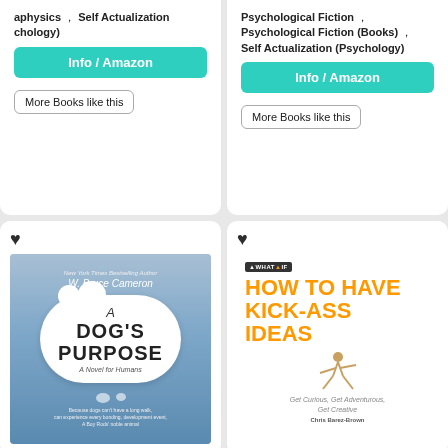aphysics , Self Actualization (chology)
Info / Amazon
More Books like this
Psychological Fiction , Psychological Fiction (Books) , Self Actualization (Psychology)
Info / Amazon
More Books like this
[Figure (illustration): Book cover of 'A Dog's Purpose' by W. Bruce Cameron, showing a cloud-shaped speech bubble with the title on a blue gradient background]
[Figure (illustration): Book cover of 'How To Have Kick-Ass Ideas' with orange bold text on white background, with a small figure silhouette]